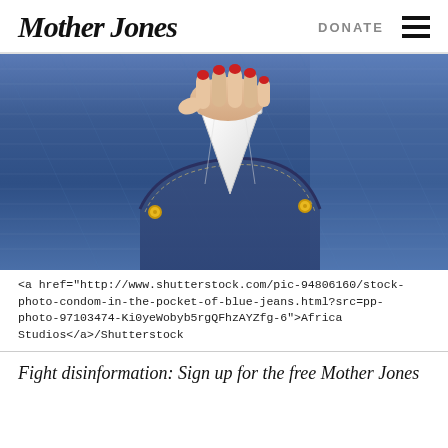Mother Jones | DONATE
[Figure (photo): Photo of a hand with red nails pulling a condom packet out of the front pocket of blue jeans]
<a href="http://www.shutterstock.com/pic-94806160/stock-photo-condom-in-the-pocket-of-blue-jeans.html?src=pp-photo-97103474-Ki0yeWobyb5rgQFhzAYZfg-6">Africa Studios</a>/Shutterstock
Fight disinformation: Sign up for the free Mother Jones